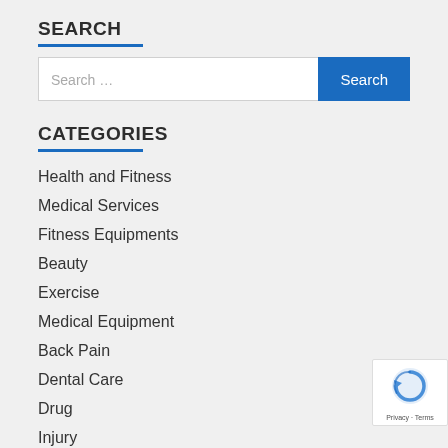SEARCH
Search …
CATEGORIES
Health and Fitness
Medical Services
Fitness Equipments
Beauty
Exercise
Medical Equipment
Back Pain
Dental Care
Drug
Injury
[Figure (other): reCAPTCHA badge showing privacy and terms notice]